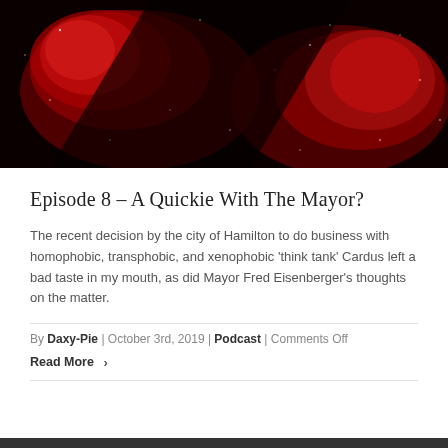[Figure (photo): Dark red and black nebula/cosmic image with red glowing clouds and scattered bright points against black background]
Episode 8 – A Quickie With The Mayor?
The recent decision by the city of Hamilton to do business with homophobic, transphobic, and xenophobic 'think tank' Cardus left a bad taste in my mouth, as did Mayor Fred Eisenberger's thoughts on the matter.
By Daxy-Pie | October 3rd, 2019 | Podcast | Comments Off Read More ›